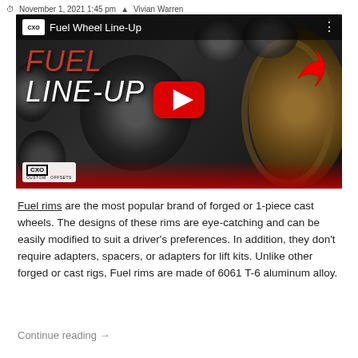November 1, 2021 1:45 pm  Vivian Warren
[Figure (screenshot): YouTube video thumbnail for 'Fuel Wheel Line-Up' showing a person surrounded by various wheel rims, with FUEL LINE-UP text overlay and a YouTube play button. CXO Custom Offsets logo visible at bottom left. Red arrow at top right.]
Fuel rims are the most popular brand of forged or 1-piece cast wheels. The designs of these rims are eye-catching and can be easily modified to suit a driver's preferences. In addition, they don't require adapters, spacers, or adapters for lift kits. Unlike other forged or cast rigs, Fuel rims are made of 6061 T-6 aluminum alloy.
Continue reading →